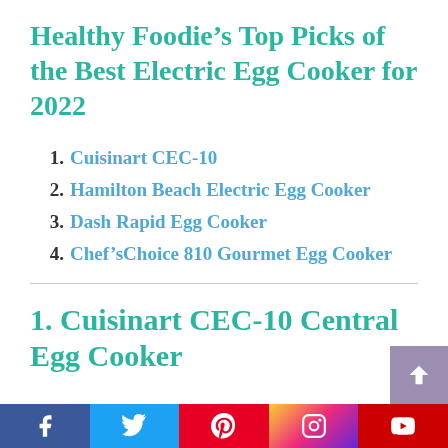Healthy Foodie’s Top Picks of the Best Electric Egg Cooker for 2022
1. Cuisinart CEC-10
2. Hamilton Beach Electric Egg Cooker
3. Dash Rapid Egg Cooker
4. Chef’sChoice 810 Gourmet Egg Cooker
1. Cuisinart CEC-10 Central Egg Cooker